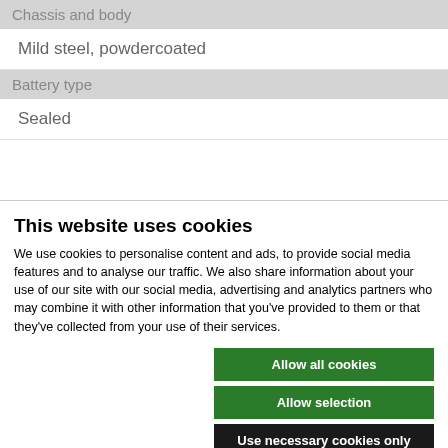| Chassis and body |
| Mild steel, powdercoated |
| Battery type |
| Sealed |
This website uses cookies
We use cookies to personalise content and ads, to provide social media features and to analyse our traffic. We also share information about your use of our site with our social media, advertising and analytics partners who may combine it with other information that you've provided to them or that they've collected from your use of their services.
Allow all cookies
Allow selection
Use necessary cookies only
Necessary  Preferences  Statistics  Marketing  Show details